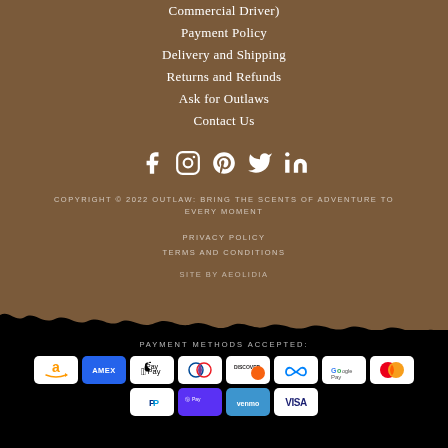Commercial Driver)
Payment Policy
Delivery and Shipping
Returns and Refunds
Ask for Outlaws
Contact Us
[Figure (infographic): Social media icons: Facebook, Instagram, Pinterest, Twitter, LinkedIn]
COPYRIGHT © 2022 OUTLAW: BRING THE SCENTS OF ADVENTURE TO EVERY MOMENT
PRIVACY POLICY
TERMS AND CONDITIONS
SITE BY AEOLIDIA
[Figure (infographic): Payment methods accepted: Amazon, Amex, Apple Pay, Diners Club, Discover, Meta Pay, Google Pay, Mastercard, PayPal, Shop Pay, Venmo, Visa]
PAYMENT METHODS ACCEPTED: